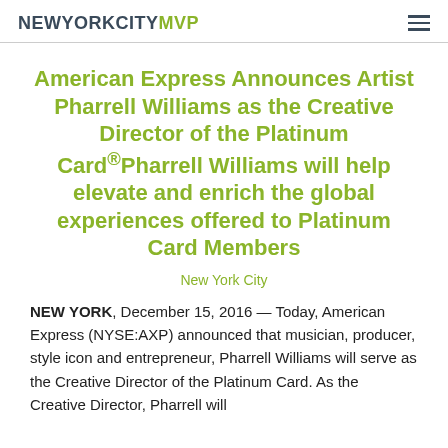NEWYORKCITYMVP
American Express Announces Artist Pharrell Williams as the Creative Director of the Platinum Card®Pharrell Williams will help elevate and enrich the global experiences offered to Platinum Card Members
New York City
NEW YORK, December 15, 2016 — Today, American Express (NYSE:AXP) announced that musician, producer, style icon and entrepreneur, Pharrell Williams will serve as the Creative Director of the Platinum Card. As the Creative Director, Pharrell will